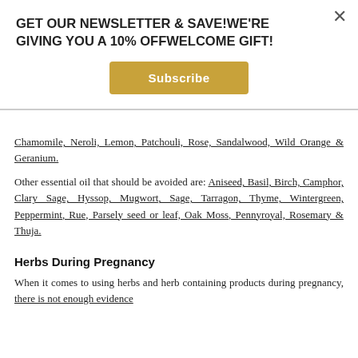GET OUR NEWSLETTER & SAVE!WE'RE GIVING YOU A 10% OFFWELCOME GIFT!
[Figure (other): Subscribe button (golden/yellow rectangle)]
Chamomile, Neroli, Lemon, Patchouli, Rose, Sandalwood, Wild Orange & Geranium.
Other essential oil that should be avoided are: Aniseed, Basil, Birch, Camphor, Clary Sage, Hyssop, Mugwort, Sage, Tarragon, Thyme, Wintergreen, Peppermint, Rue, Parsely seed or leaf, Oak Moss, Pennyroyal, Rosemary & Thuja.
Herbs During Pregnancy
When it comes to using herbs and herb containing products during pregnancy, there is not enough evidence